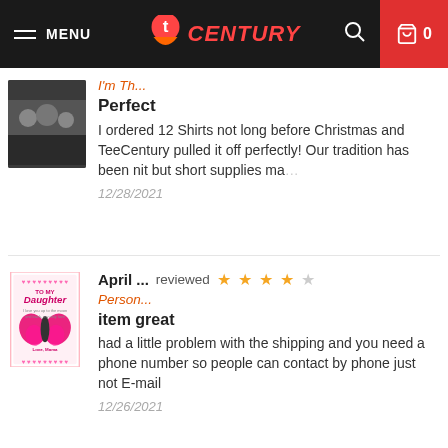MENU | CENTURY | 0
[Figure (screenshot): Product thumbnail photo showing group of people]
I'm Th...
Perfect
I ordered 12 Shirts not long before Christmas and TeeCentury pulled it off perfectly! Our tradition has been nit but short supplies ma...
12/28/2021
[Figure (photo): To My Daughter butterfly blanket product thumbnail in pink]
April ...  reviewed ★★★★☆
Person...
item great
had a little problem with the shipping and you need a phone number so people can contact by phone just not E-mail
12/26/2021